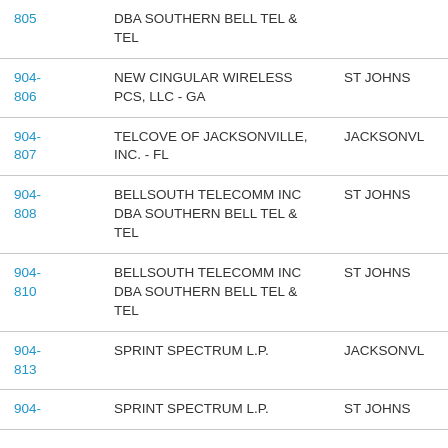| Code | Name | Location |
| --- | --- | --- |
| 805 | DBA SOUTHERN BELL TEL & TEL |  |
| 904-806 | NEW CINGULAR WIRELESS PCS, LLC - GA | ST JOHNS |
| 904-807 | TELCOVE OF JACKSONVILLE, INC. - FL | JACKSONVL |
| 904-808 | BELLSOUTH TELECOMM INC DBA SOUTHERN BELL TEL & TEL | ST JOHNS |
| 904-810 | BELLSOUTH TELECOMM INC DBA SOUTHERN BELL TEL & TEL | ST JOHNS |
| 904-813 | SPRINT SPECTRUM L.P. | JACKSONVL |
| 904- | SPRINT SPECTRUM L.P. | ST JOHNS |